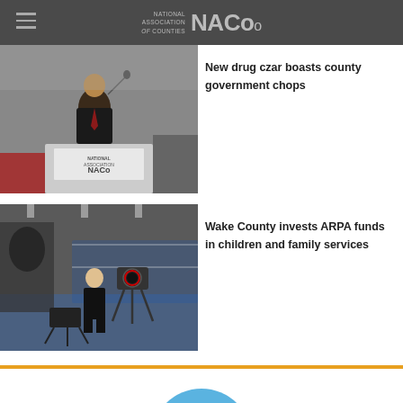National Association of Counties NACo
[Figure (photo): Man in suit speaking at a podium with NACo National Association of Counties logo on the front]
New drug czar boasts county government chops
[Figure (photo): Woman standing in a gym/boxing facility in front of a camera on a tripod]
Wake County invests ARPA funds in children and family services